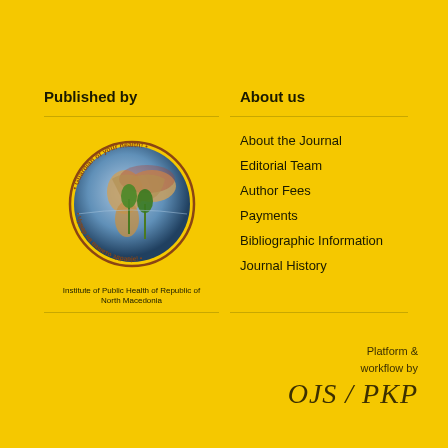Published by
About us
[Figure (logo): Globe logo with text 'Institute of Public Health of Republic of North Macedonia' and tagline 'Guardian of your health']
About the Journal
Editorial Team
Author Fees
Payments
Bibliographic Information
Journal History
Platform & workflow by OJS / PKP